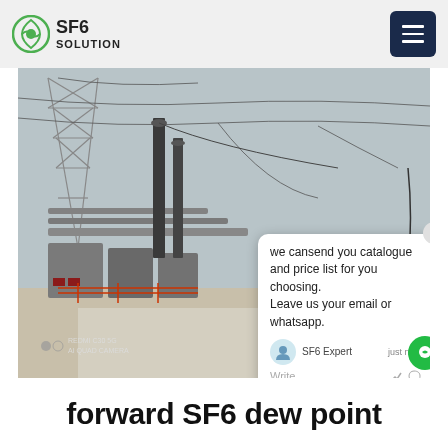SF6 SOLUTION
[Figure (photo): Photo of an electrical substation with large transformers, overhead cables and lattice steel pylons. A yellow truck is parked next to the equipment. A live chat popup is overlaid showing: 'we cansend you catalogue and price list for you choosing. Leave us your email or whatsapp.' with SF6 Expert agent label and 'just now' timestamp. Camera watermark reads REDMI C30 5G AI QUAD CAMERA. SF6China watermark in orange lower right.]
forward SF6 dew point